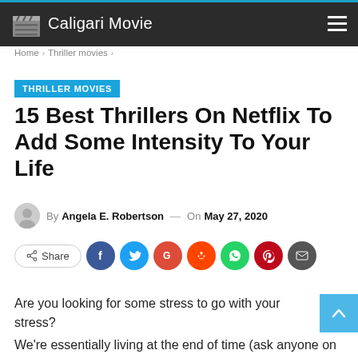Caligari Movie
Home > Thriller movies >
THRILLER MOVIES
15 Best Thrillers On Netflix To Add Some Intensity To Your Life
By Angela E. Robertson — On May 27, 2020
Share
Are you looking for some stress to go with your stress?
We're essentially living at the end of time (ask anyone on